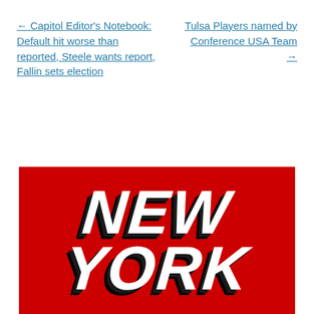← Capitol Editor's Notebook: Default hit worse than reported, Steele wants report, Fallin sets election
Tulsa Players named by Conference USA Team →
[Figure (logo): NEW YORK logo text in bold white italic letters on a red background with dark shadow]